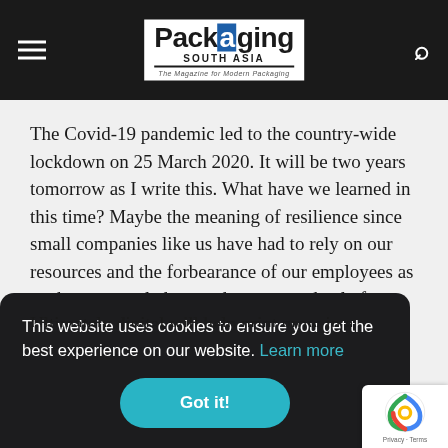Packaging South Asia – The Magazine for Modern Packaging
The Covid-19 pandemic led to the country-wide lockdown on 25 March 2020. It will be two years tomorrow as I write this. What have we learned in this time? Maybe the meaning of resilience since small companies like us have had to rely on our resources and the forbearance of our employees as we have struggled to produce our trade platforms.
This website uses cookies to ensure you get the best experience on our website. Learn more
Got it!
Ultimately digital will help print grow in a